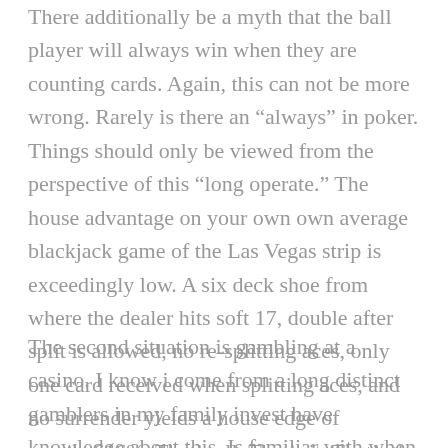There additionally be a myth that the ball player will always win when they are counting cards. Again, this can not be more wrong. Rarely is there an “always” in poker. Things should only be viewed from the perspective of this “long operate.” The house advantage on your own own average blackjack game of the Las Vegas strip is exceedingly low. A six deck shoe from where the dealer hits soft 17, double after split is allowed, no re-splitting aces, only one card received when splitting aces, and no surrender yields a house edge of merely.616%. That’s all. That’s it. That’s the whole edge immediately.
The second situation is gambling at a casino. I know i come from a long distinct gamblers in my family invest have knowledge about this. Is familiar with when they